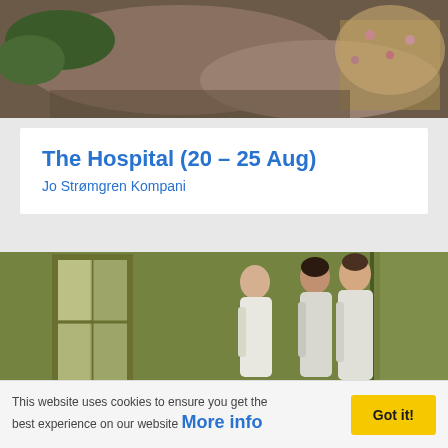[Figure (photo): Top portion of outdoor photo showing rocks, vegetation, and a person in a floral dress lying or crouching on the ground]
The Hospital (20 – 25 Aug)
Jo Strømgren Kompani
[Figure (photo): Three women in white coats or uniforms standing in a green-tinted hospital corridor near a window, viewed from the side]
This website uses cookies to ensure you get the best experience on our website More info